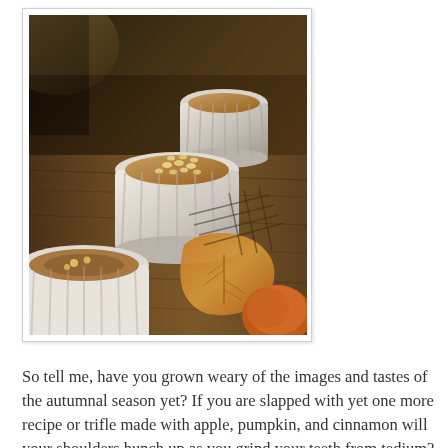[Figure (photo): Photo of several white ramekins containing a baked dessert topped with nuts (likely pine nuts), arranged on a wooden surface with autumn leaves in the foreground. Warm, moody autumnal tones.]
So tell me, have you grown weary of the images and tastes of the autumnal season yet? If you are slapped with yet one more recipe or trifle made with apple, pumpkin, and cinnamon will your shoulders hunch up as you grind your teeth from tedium? How many variant pumpkin breads, apple